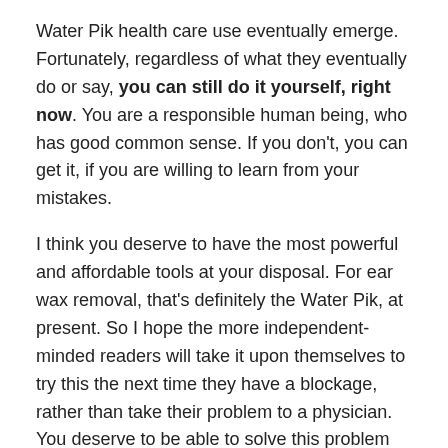Water Pik health care use eventually emerge. Fortunately, regardless of what they eventually do or say, you can still do it yourself, right now. You are a responsible human being, who has good common sense. If you don't, you can get it, if you are willing to learn from your mistakes.

I think you deserve to have the most powerful and affordable tools at your disposal. For ear wax removal, that's definitely the Water Pik, at present. So I hope the more independent-minded readers will take it upon themselves to try this the next time they have a blockage, rather than take their problem to a physician. You deserve to be able to solve this problem yourself, immediately, whenever it occurs. Good luck!
2019 Addition: